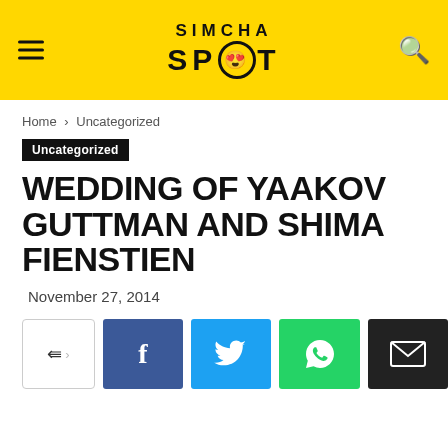SIMCHA SPOT
Home › Uncategorized
Uncategorized
WEDDING OF YAAKOV GUTTMAN AND SHIMA FIENSTIEN
November 27, 2014
[Figure (screenshot): Social share buttons: share toggle, Facebook, Twitter, WhatsApp, Email]